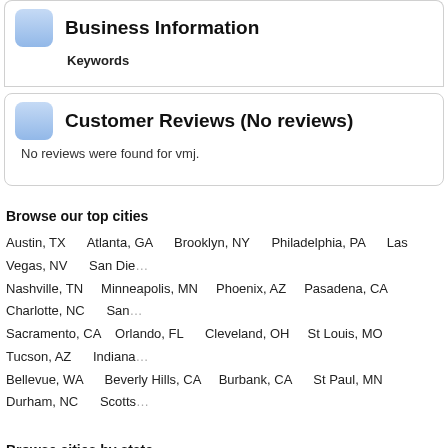Business Information
Keywords
Customer Reviews (No reviews)
No reviews were found for vmj.
Browse our top cities
Austin, TX  Atlanta, GA  Brooklyn, NY  Philadelphia, PA  Las Vegas, NV  San Die...
Nashville, TN  Minneapolis, MN  Phoenix, AZ  Pasadena, CA  Charlotte, NC  San...
Sacramento, CA  Orlando, FL  Cleveland, OH  St Louis, MO  Tucson, AZ  Indiana...
Bellevue, WA  Beverly Hills, CA  Burbank, CA  St Paul, MN  Durham, NC  Scotts...
Browse cities by state
Alabama  Alaska  Arizona  Arkansas  California  Colorado  Connecticut  D...
Iowa  Kansas  Kentucky  Louisiana  Maine  Maryland  Massachusetts  Mi...
New Hampshire  New Jersey  New Mexico  New York  North Carolina  North Dak...